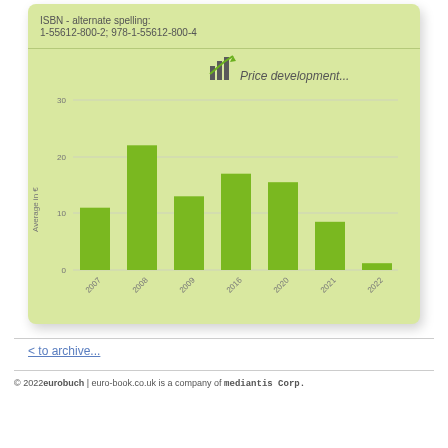ISBN - alternate spelling:
1-55612-800-2; 978-1-55612-800-4
[Figure (bar-chart): Price development...]
< to archive...
© 2022eurobuch | euro-book.co.uk is a company of mediantis Corp.